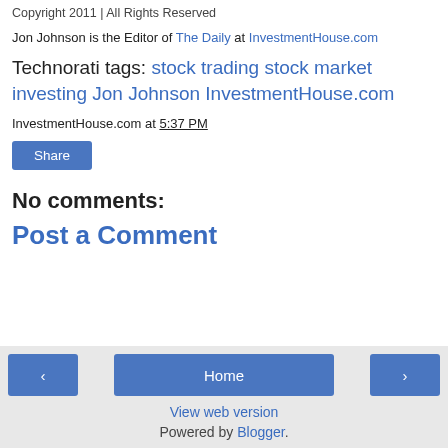Copyright 2011 | All Rights Reserved
Jon Johnson is the Editor of The Daily at InvestmentHouse.com
Technorati tags: stock trading stock market investing Jon Johnson InvestmentHouse.com
InvestmentHouse.com at 5:37 PM
Share
No comments:
Post a Comment
< Home > View web version Powered by Blogger.